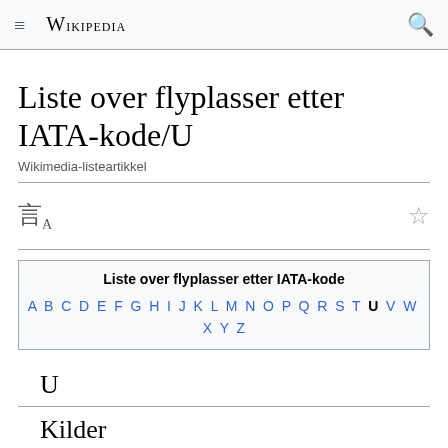≡  WIKIPEDIA  🔍
Liste over flyplasser etter IATA-kode/U
Wikimedia-listeartikkel
| Liste over flyplasser etter IATA-kode |
| --- |
| A B C D E F G H I J K L M N O P Q R S T U V W X Y Z |
U
Kilder